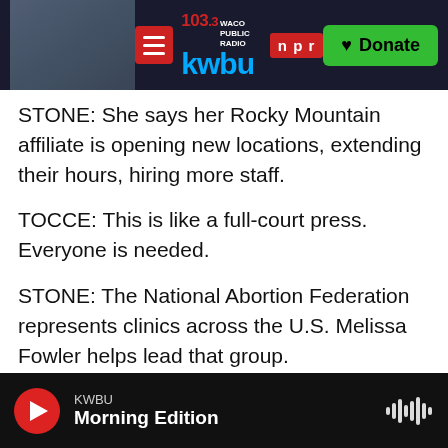103.3 KWBU WACO PUBLIC RADIO | npr | Donate
STONE: She says her Rocky Mountain affiliate is opening new locations, extending their hours, hiring more staff.
TOCCE: This is like a full-court press. Everyone is needed.
STONE: The National Abortion Federation represents clinics across the U.S. Melissa Fowler helps lead that group.
MELISSA FOWLER: We have been preparing for this worst-case scenario for many years.
KWBU | Morning Edition